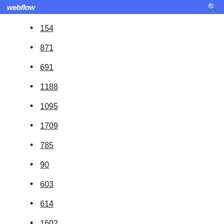webflow
154
871
691
1188
1095
1709
785
90
603
614
1602
1033
888